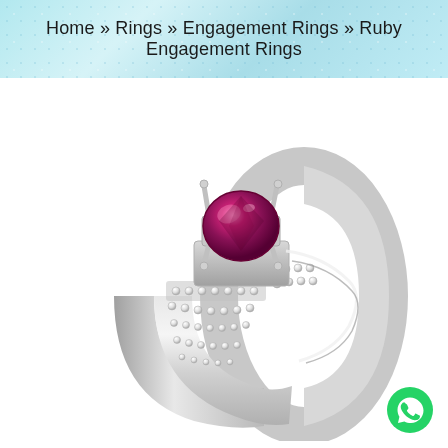Home » Rings » Engagement Rings » Ruby Engagement Rings
[Figure (photo): A white gold ruby engagement ring with a round red/pink ruby solitaire set in a four-prong setting, flanked by two rows of pavé-set diamonds along the band shank. The ring is photographed on a white background at a three-quarter angle.]